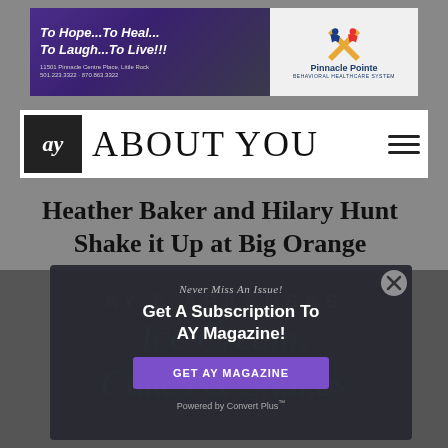[Figure (infographic): Pinnacle Pointe Behavioral Healthcare System advertisement banner with purple gradient background and logo. Text reads: To Hope...To Heal...To Laugh...To Live!!! with address 11501 Pinnacle Centre Place, Little Rock 501.223.3322 · 870.863.3322]
ay ABOUT YOU
Heather Baker and Hilary Hunt Shake it Up at Big Orange
[Figure (screenshot): Modal popup overlay on dark background with text: Never Miss An Issue! Get A Subscription To AY Magazine! with purple GET AY MAGAZINE button and Powered by Convert Plus™ text. Background shows AY's Arkansas and cursive text: Cakes & Shakes]
Powered by Convert Plus™